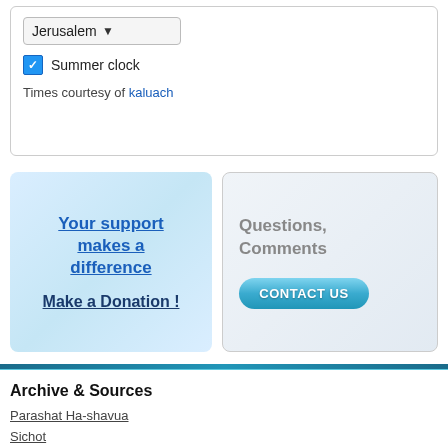Jerusalem (dropdown)
Summer clock (checkbox checked)
Times courtesy of kaluach
Your support makes a difference
Make a Donation !
Questions, Comments
CONTACT US
Archive & Sources
Parashat Ha-shavua
Sichot